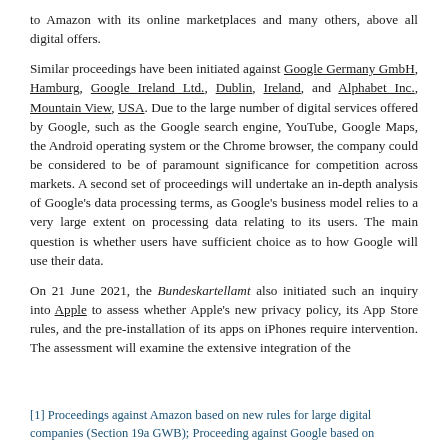to Amazon with its online marketplaces and many others, above all digital offers.
Similar proceedings have been initiated against Google Germany GmbH, Hamburg, Google Ireland Ltd., Dublin, Ireland, and Alphabet Inc., Mountain View, USA. Due to the large number of digital services offered by Google, such as the Google search engine, YouTube, Google Maps, the Android operating system or the Chrome browser, the company could be considered to be of paramount significance for competition across markets. A second set of proceedings will undertake an in-depth analysis of Google's data processing terms, as Google's business model relies to a very large extent on processing data relating to its users. The main question is whether users have sufficient choice as to how Google will use their data.
On 21 June 2021, the Bundeskartellamt also initiated such an inquiry into Apple to assess whether Apple's new privacy policy, its App Store rules, and the pre-installation of its apps on iPhones require intervention. The assessment will examine the extensive integration of the
[1] Proceedings against Amazon based on new rules for large digital companies (Section 19a GWB); Proceeding against Google based on